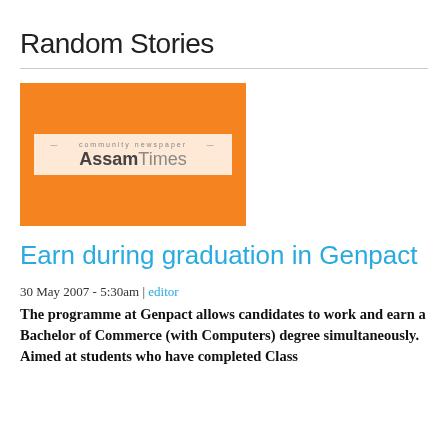Random Stories
[Figure (logo): AssamTimes community newspaper logo on an orange background]
Earn during graduation in Genpact
30 May 2007 - 5:30am | editor
The programme at Genpact allows candidates to work and earn a Bachelor of Commerce (with Computers) degree simultaneously. Aimed at students who have completed Class